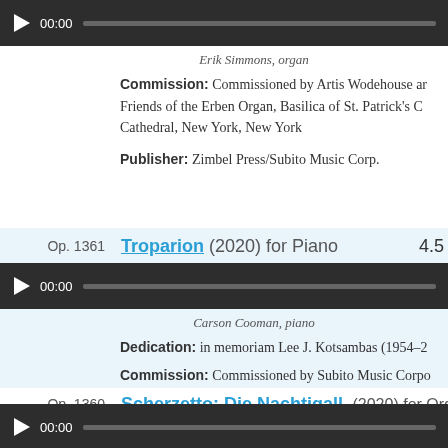[Figure (screenshot): Audio player bar showing play button, 00:00 timestamp, and progress track]
Erik Simmons, organ
Commission: Commissioned by Artis Wodehouse and Friends of the Erben Organ, Basilica of St. Patrick's Cathedral, New York, New York
Publisher: Zimbel Press/Subito Music Corp.
Op. 1361  Troparion (2020) for Piano  4.5
[Figure (screenshot): Audio player bar showing play button, 00:00 timestamp, and progress track]
Carson Cooman, piano
Dedication: in memoriam Lee J. Kotsambas (1954–2
Commission: Commissioned by Subito Music Corpo
Publisher: Subito Music Corp. in "Piano Premieres, V
Op. 1360  Scherzetto: Die Nachtigall (2020) for Organ (manuals only)  2.2
[Figure (screenshot): Audio player bar showing play button, 00:00 timestamp, and progress track]